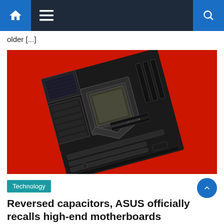Navigation bar with home, menu, and search icons
older [...]
[Figure (photo): ASUS ROG high-end motherboard displayed at an angle against a vivid red background]
Technology
Reversed capacitors, ASUS officially recalls high-end motherboards